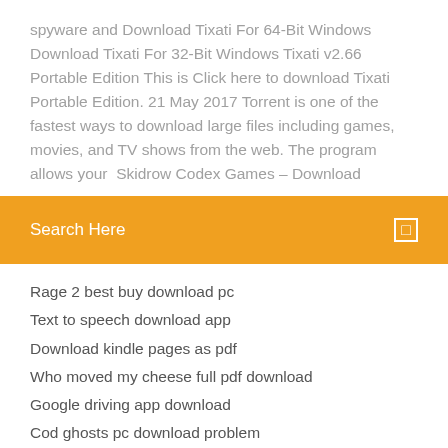spyware and Download Tixati For 64-Bit Windows Download Tixati For 32-Bit Windows Tixati v2.66 Portable Edition This is Click here to download Tixati Portable Edition. 21 May 2017 Torrent is one of the fastest ways to download large files including games, movies, and TV shows from the web. The program allows your  Skidrow Codex Games – Download
Search Here
Rage 2 best buy download pc
Text to speech download app
Download kindle pages as pdf
Who moved my cheese full pdf download
Google driving app download
Cod ghosts pc download problem
Ico files for download
Mozilla firefox version 46 download
Split video and camera premium apk download